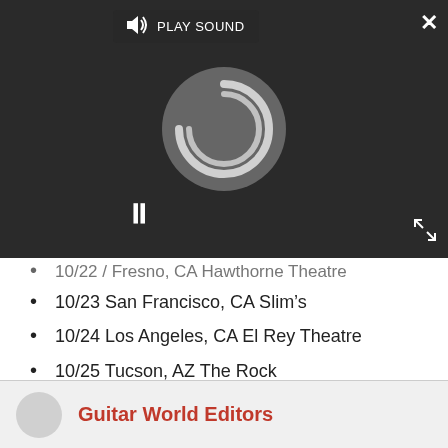[Figure (screenshot): Dark media player overlay with 'PLAY SOUND' button, loading spinner, pause button, close (X) button, and expand arrows button]
10/22 / Fresno, CA Hawthorne Theatre (truncated/cut off at top)
10/23 San Francisco, CA Slim's
10/24 Los Angeles, CA El Rey Theatre
10/25 Tucson, AZ The Rock
10/27 Tulsa, OK The Marquee
10/28 Fort Worth, TX Ridglea Theatre
10/29 Austin, TX Emo's Outside
10/30 Houston, TX The Warsaw
Guitar World Editors